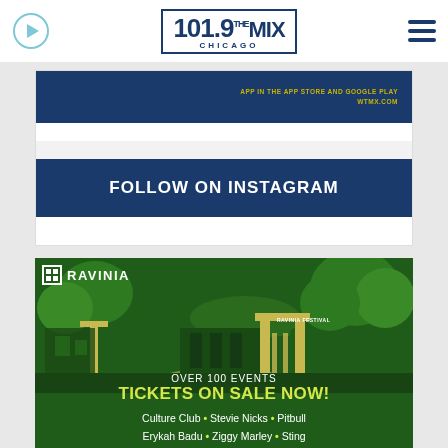[Figure (logo): 101.9 The Mix Chicago radio station logo in navy blue with rectangular border]
[Figure (screenshot): Social card with dark navy banner showing WTMX.COM app download text and Follow on Instagram button]
[Figure (illustration): Ravinia Festival advertisement with illustrated green outdoor venue, showing entrance gates, pavilion, and trees. Text reads: RAVINIA, OVER 100 EVENTS, TICKETS ON SALE NOW!, Culture Club, Stevie Nicks, Pitbull, Erykah Badu, Ziggy Marley, Sting]